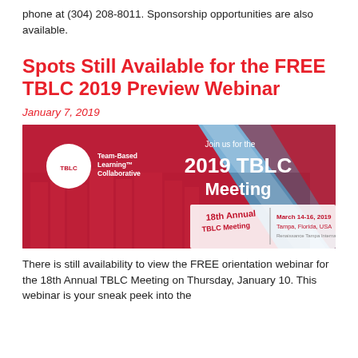phone at (304) 208-8011. Sponsorship opportunities are also available.
Spots Still Available for the FREE TBLC 2019 Preview Webinar
January 7, 2019
[Figure (illustration): TBLC 2019 Meeting promotional banner showing the Tampa, Florida skyline with red and white diagonal design elements, TBLC logo, text '2019 TBLC Meeting', '18th Annual TBLC Meeting', 'March 14-16, 2019', 'Tampa, Florida, USA']
There is still availability to view the FREE orientation webinar for the 18th Annual TBLC Meeting on Thursday, January 10. This webinar is your sneak peek into the